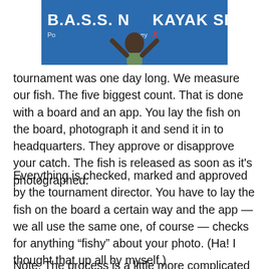[Figure (photo): Partial photo of a person with arms raised at a B.A.S.S. Nation Kayak Series event, showing a blue banner with the event name and a sponsorship logo with a red X.]
tournament was one day long. We measure our fish. The five biggest count. That is done with a board and an app. You lay the fish on the board, photograph it and send it in to headquarters. They approve or disapprove your catch. The fish is released as soon as it's photographed.
Everything is checked, marked and approved by the tournament director. You have to lay the fish on the board a certain way and the app — we all use the same one, of course — checks for anything “fishy” about your photo. (Ha! I thought that up all by myself.)
Note: The process is a little more complicated